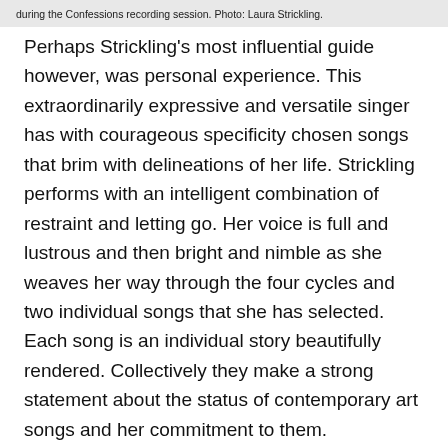during the Confessions recording session. Photo: Laura Strickling.
Perhaps Strickling's most influential guide however, was personal experience. This extraordinarily expressive and versatile singer has with courageous specificity chosen songs that brim with delineations of her life. Strickling performs with an intelligent combination of restraint and letting go. Her voice is full and lustrous and then bright and nimble as she weaves her way through the four cycles and two individual songs that she has selected. Each song is an individual story beautifully rendered. Collectively they make a strong statement about the status of contemporary art songs and her commitment to them.
The soprano's opening gambit, Clarice Assad's